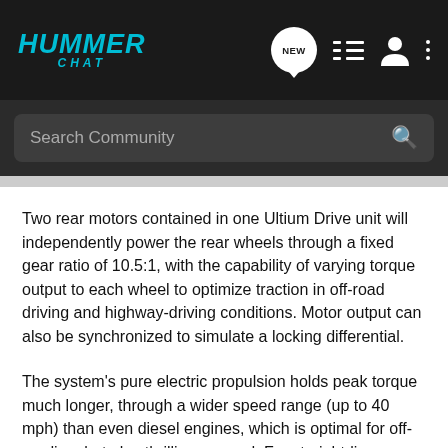HUMMER CHAT
Two rear motors contained in one Ultium Drive unit will independently power the rear wheels through a fixed gear ratio of 10.5:1, with the capability of varying torque output to each wheel to optimize traction in off-road driving and highway-driving conditions. Motor output can also be synchronized to simulate a locking differential.
The system's pure electric propulsion holds peak torque much longer, through a wider speed range (up to 40 mph) than even diesel engines, which is optimal for off-roading, but also thrilling on-road. For straight-line performance, the Ultium batteries and Ultium Drive will offer enough power to enable the Watts to Freedom performance feature, launching the HUMMER EV from 0-60 mph in approximately 3 seconds (based on GM